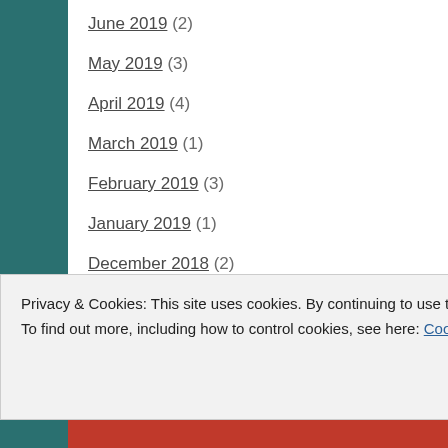June 2019 (2)
May 2019 (3)
April 2019 (4)
March 2019 (1)
February 2019 (3)
January 2019 (1)
December 2018 (2)
November 2018 (2)
October 2018 (2)
September 2018 (3)
August 2018 (1)
Privacy & Cookies: This site uses cookies. By continuing to use this website, you agree to their use.
To find out more, including how to control cookies, see here: Cookie Policy
Close and accept